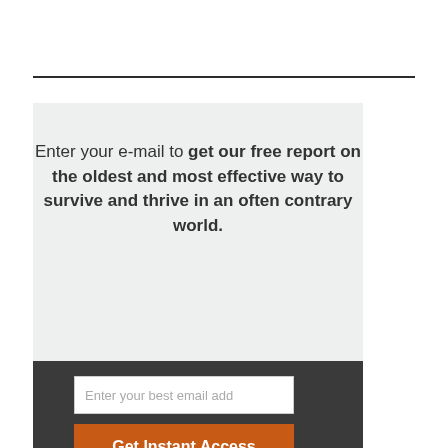Enter your e-mail to get our free report on the oldest and most effective way to survive and thrive in an often contrary world.
Enter your best email add
Get Instant Access